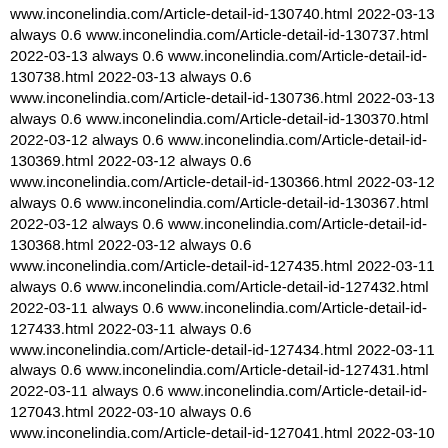www.inconelindia.com/Article-detail-id-130740.html 2022-03-13 always 0.6 www.inconelindia.com/Article-detail-id-130737.html 2022-03-13 always 0.6 www.inconelindia.com/Article-detail-id-130738.html 2022-03-13 always 0.6 www.inconelindia.com/Article-detail-id-130736.html 2022-03-13 always 0.6 www.inconelindia.com/Article-detail-id-130370.html 2022-03-12 always 0.6 www.inconelindia.com/Article-detail-id-130369.html 2022-03-12 always 0.6 www.inconelindia.com/Article-detail-id-130366.html 2022-03-12 always 0.6 www.inconelindia.com/Article-detail-id-130367.html 2022-03-12 always 0.6 www.inconelindia.com/Article-detail-id-130368.html 2022-03-12 always 0.6 www.inconelindia.com/Article-detail-id-127435.html 2022-03-11 always 0.6 www.inconelindia.com/Article-detail-id-127432.html 2022-03-11 always 0.6 www.inconelindia.com/Article-detail-id-127433.html 2022-03-11 always 0.6 www.inconelindia.com/Article-detail-id-127434.html 2022-03-11 always 0.6 www.inconelindia.com/Article-detail-id-127431.html 2022-03-11 always 0.6 www.inconelindia.com/Article-detail-id-127043.html 2022-03-10 always 0.6 www.inconelindia.com/Article-detail-id-127041.html 2022-03-10 always 0.6 www.inconelindia.com/Article-detail-id-127042.html 2022-03-10 always 0.6 www.inconelindia.com/Article-detail-id-127039.html 2022-03-10 always 0.6 www.inconelindia.com/Article-detail-id-127040.html 2022-03-10 always 0.6 www.inconelindia.com/Article-detail-id-126575.html